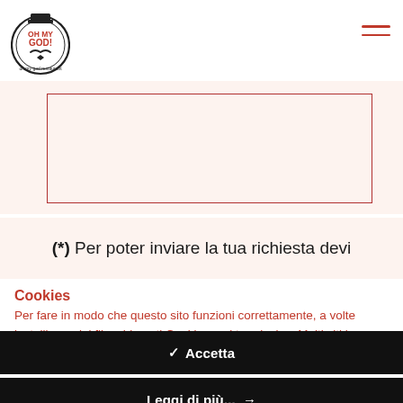[Figure (logo): Oh My God! restaurant logo - circular badge with top hat and mustache illustration]
(*) Per poter inviare la tua richiesta devi
Cookies
Per fare in modo che questo sito funzioni correttamente, a volte installiamo dei file, chiamati Cookies, nel tuo device. Molti siti lo fanno.
✓  Accetta
Leggi di più...  →
Impostazioni  ⚙